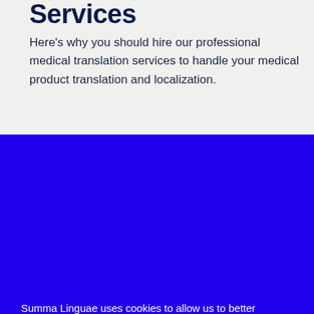Services
Here's why you should hire our professional medical translation services to handle your medical product translation and localization.
Summa Linguae uses cookies to allow us to better understand how the site is used. By continuing to use this site, you consent to this policy.
OK
LEARN MORE →